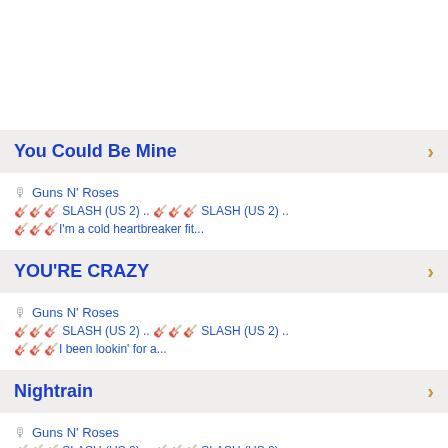You Could Be Mine
🎤 Guns N' Roses
🎸🎸🎸 SLASH (US 2) .. 🎸🎸🎸 SLASH (US 2) ..
🎸🎸🎸I'm a cold heartbreaker fit...
YOU'RE CRAZY
🎤 Guns N' Roses
🎸🎸🎸 SLASH (US 2) .. 🎸🎸🎸 SLASH (US 2) ..
🎸🎸🎸I been lookin' for a...
Nightrain
🎤 Guns N' Roses
🎸🎸🎸 SLASH (US 2) .. 🎸🎸🎸 SLASH (US 2) ..
🎸🎸🎸Loaded like a freight train...